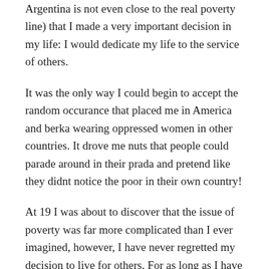Argentina is not even close to the real poverty line) that I made a very important decision in my life: I would dedicate my life to the service of others.
It was the only way I could begin to accept the random occurance that placed me in America and berka wearing oppressed women in other countries. It drove me nuts that people could parade around in their prada and pretend like they didnt notice the poor in their own country!
At 19 I was about to discover that the issue of poverty was far more complicated than I ever imagined, however, I have never regretted my decision to live for others. For as long as I have lived, I still believe it is the only way to achieve